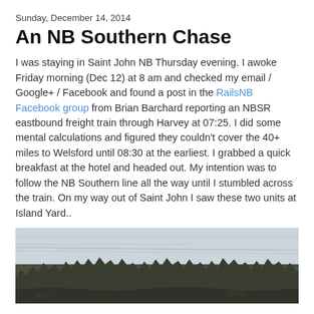Sunday, December 14, 2014
An NB Southern Chase
I was staying in Saint John NB Thursday evening. I awoke Friday morning (Dec 12) at 8 am and checked my email / Google+ / Facebook and found a post in the RailsNB Facebook group from Brian Barchard reporting an NBSR eastbound freight train through Harvey at 07:25. I did some mental calculations and figured they couldn't cover the 40+ miles to Welsford until 08:30 at the earliest. I grabbed a quick breakfast at the hotel and headed out. My intention was to follow the NB Southern line all the way until I stumbled across the train. On my way out of Saint John I saw these two units at Island Yard..
[Figure (photo): Outdoor winter landscape photo showing a treeline of dark evergreen trees under a pale grey overcast sky, with power lines visible in the distance. Likely taken near Island Yard, Saint John NB.]